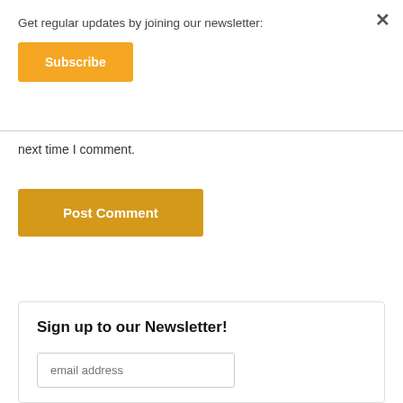×
Get regular updates by joining our newsletter:
Subscribe
next time I comment.
Post Comment
Sign up to our Newsletter!
email address